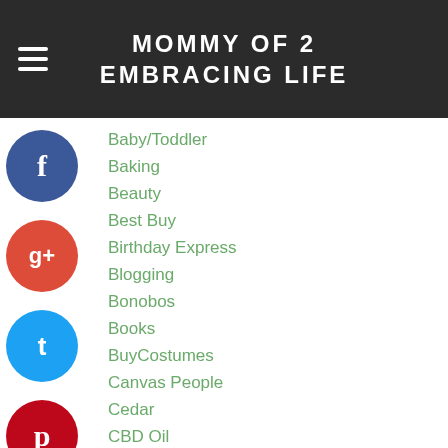MOMMY OF 2 EMBRACING LIFE
Baby/Toddler
Baking
Beauty
Best Buy
Birthday Express
Blogging
Bonobos
Books
BuyCostumes
Canvas People
Cedar
CBD Oil
Checkout51
Cheryl's
Children
Citrus Lane
Cleaning
Clothes
Coffee